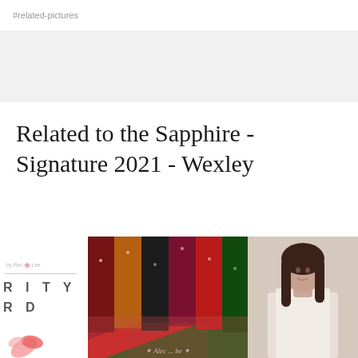#related-pictures
Related to the Sapphire - Signature 2021 - Wexley
[Figure (photo): Three product/editorial photos shown at the bottom: left shows a card/invitation with partial text 'RITY' and 'R D' with a flower graphic; center shows colorful velvet fabric swatches in dark red, orange, black, magenta, red, and green colors arranged vertically; right shows a partial photo of a woman with long dark hair against a light background.]